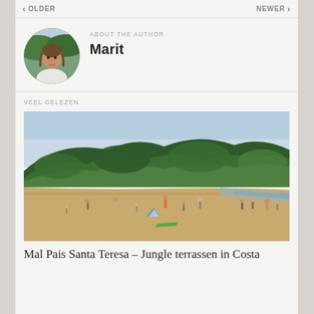< OLDER   NEWER >
ABOUT THE AUTHOR
[Figure (photo): Circular portrait photo of author Marit outdoors with green foliage background]
Marit
VEEL GELEZEN
[Figure (photo): Beach scene with people on sandy shore, green forested hills in background, Mal Pais Santa Teresa Costa Rica]
Mal Pais Santa Teresa – Jungle terrassen in Costa